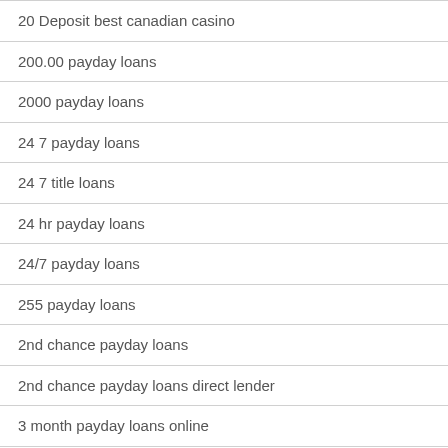20 Deposit best canadian casino
200.00 payday loans
2000 payday loans
24 7 payday loans
24 7 title loans
24 hr payday loans
24/7 payday loans
255 payday loans
2nd chance payday loans
2nd chance payday loans direct lender
3 month payday loans online
3 Words find out here